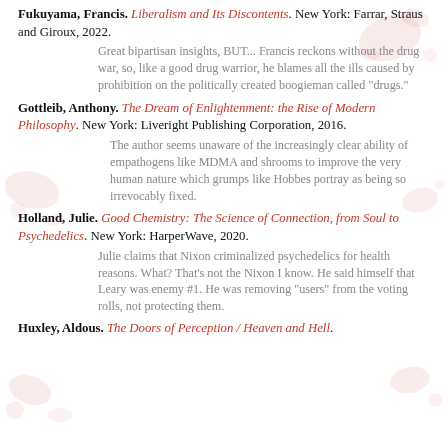Fukuyama, Francis. Liberalism and Its Discontents. New York: Farrar, Straus and Giroux, 2022.
Great bipartisan insights, BUT... Francis reckons without the drug war, so, like a good drug warrior, he blames all the ills caused by prohibition on the politically created boogieman called "drugs."
Gottleib, Anthony. The Dream of Enlightenment: the Rise of Modern Philosophy. New York: Liveright Publishing Corporation, 2016.
The author seems unaware of the increasingly clear ability of empathogens like MDMA and shrooms to improve the very human nature which grumps like Hobbes portray as being so irrevocably fixed.
Holland, Julie. Good Chemistry: The Science of Connection, from Soul to Psychedelics. New York: HarperWave, 2020.
Julie claims that Nixon criminalized psychedelics for health reasons. What? That's not the Nixon I know. He said himself that Leary was enemy #1. He was removing "users" from the voting rolls, not protecting them.
Huxley, Aldous. The Doors of Perception / Heaven and Hell.